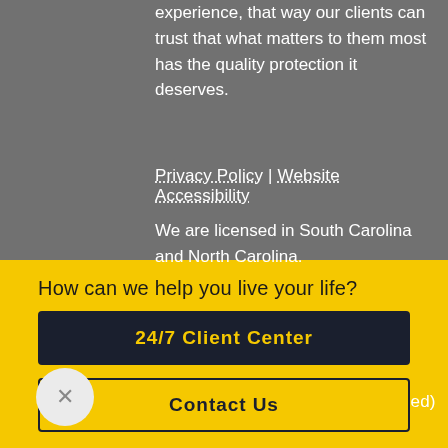experience, that way our clients can trust that what matters to them most has the quality protection it deserves.
Privacy Policy | Website Accessibility
We are licensed in South Carolina and North Carolina.
Personal Insurance
Home and Auto Insurance (Bundled)
How can we help you live your life?
24/7 Client Center
Contact Us